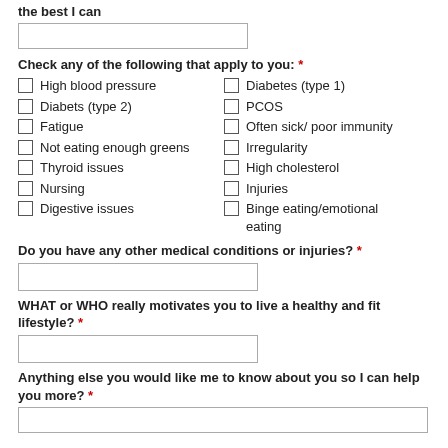the best I can
(input box)
Check any of the following that apply to you: *
High blood pressure
Diabetes (type 1)
Diabets (type 2)
PCOS
Fatigue
Often sick/ poor immunity
Not eating enough greens
Irregularity
Thyroid issues
High cholesterol
Nursing
Injuries
Digestive issues
Binge eating/emotional eating
Do you have any other medical conditions or injuries? *
(input box)
WHAT or WHO really motivates you to live a healthy and fit lifestyle? *
(input box)
Anything else you would like me to know about you so I can help you more? *
(input box)